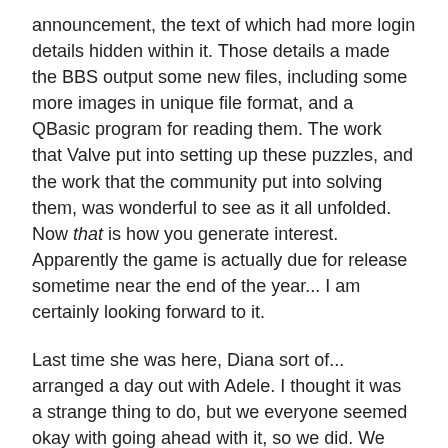announcement, the text of which had more login details hidden within it. Those details a made the BBS output some new files, including some more images in unique file format, and a QBasic program for reading them. The work that Valve put into setting up these puzzles, and the work that the community put into solving them, was wonderful to see as it all unfolded. Now that is how you generate interest. Apparently the game is actually due for release sometime near the end of the year... I am certainly looking forward to it.
Last time she was here, Diana sort of... arranged a day out with Adele. I thought it was a strange thing to do, but we everyone seemed okay with going ahead with it, so we did. We took the children and had a day at Longleat, which was nice. I'd been there once before but many years ago. We didn't really have time for everything there, but went on train and through the place where you can pet the little animals, had some lunch and then on to the main attraction: